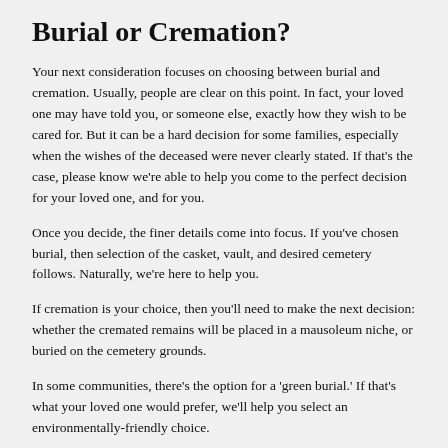Burial or Cremation?
Your next consideration focuses on choosing between burial and cremation. Usually, people are clear on this point. In fact, your loved one may have told you, or someone else, exactly how they wish to be cared for. But it can be a hard decision for some families, especially when the wishes of the deceased were never clearly stated. If that's the case, please know we're able to help you come to the perfect decision for your loved one, and for you.
Once you decide, the finer details come into focus. If you've chosen burial, then selection of the casket, vault, and desired cemetery follows. Naturally, we're here to help you.
If cremation is your choice, then you'll need to make the next decision: whether the cremated remains will be placed in a mausoleum niche, or buried on the cemetery grounds.
In some communities, there's the option for a 'green burial.' If that's what your loved one would prefer, we'll help you select an environmentally-friendly choice.